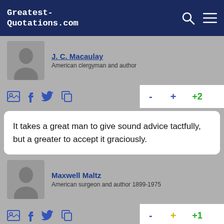Greatest-Quotations.com
J. C. Macaulay
American clergyman and author
It takes a great man to give sound advice tactfully, but a greater to accept it graciously.
Maxwell Maltz
American surgeon and author 1899-1975